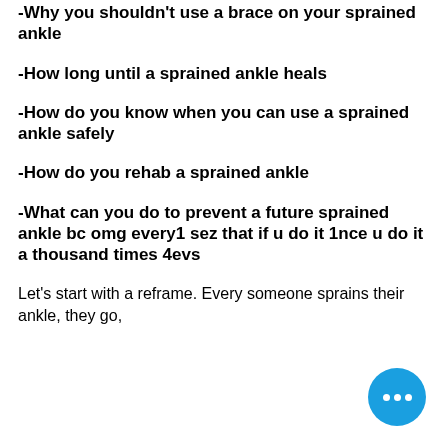-Why you shouldn't use a brace on your sprained ankle
-How long until a sprained ankle heals
-How do you know when you can use a sprained ankle safely
-How do you rehab a sprained ankle
-What can you do to prevent a future sprained ankle bc omg every1 sez that if u do it 1nce u do it a thousand times 4evs
Let's start with a reframe. Every someone sprains their ankle, they go,